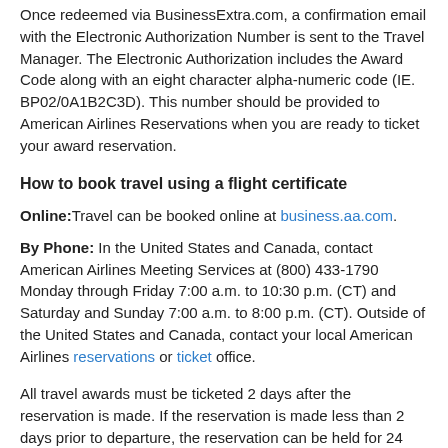Once redeemed via BusinessExtra.com, a confirmation email with the Electronic Authorization Number is sent to the Travel Manager. The Electronic Authorization includes the Award Code along with an eight character alpha-numeric code (IE. BP02/0A1B2C3D). This number should be provided to American Airlines Reservations when you are ready to ticket your award reservation.
How to book travel using a flight certificate
Online: Travel can be booked online at business.aa.com.
By Phone: In the United States and Canada, contact American Airlines Meeting Services at (800) 433-1790 Monday through Friday 7:00 a.m. to 10:30 p.m. (CT) and Saturday and Sunday 7:00 a.m. to 8:00 p.m. (CT). Outside of the United States and Canada, contact your local American Airlines reservations or ticket office.
All travel awards must be ticketed 2 days after the reservation is made. If the reservation is made less than 2 days prior to departure, the reservation can be held for 24 hours for ticketing. All ticketing must be done through AA Meeting Services prior to arrival at the airport. Airport agents are unable to issue tickets against Business Extra awards.